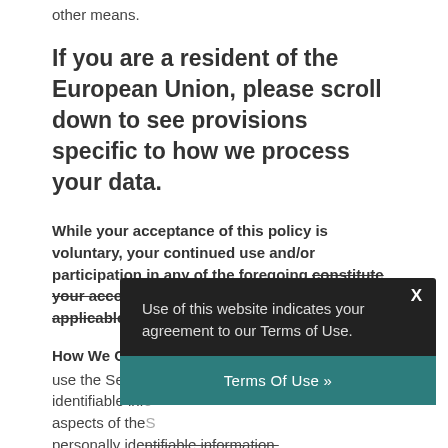other means.
If you are a resident of the European Union, please scroll down to see provisions specific to how we process your data.
While your acceptance of this policy is voluntary, your continued use and/or participation in any of the foregoing constitute your acceptance of this policy and any other applicable terms.
How We Colle
use the Services without disclosure personally identifiable info aspects of the S personally identifiable information.
Use of this website indicates your agreement to our Terms of Use.
Terms Of Use »